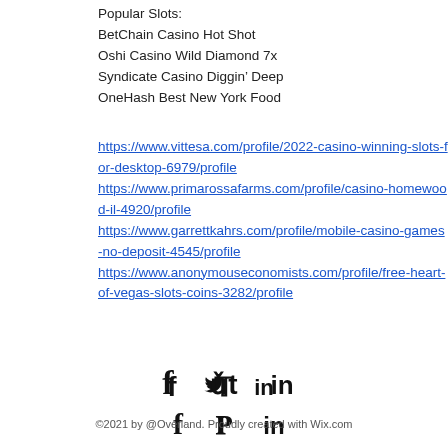Popular Slots:
BetChain Casino Hot Shot
Oshi Casino Wild Diamond 7x
Syndicate Casino Diggin' Deep
OneHash Best New York Food
https://www.vittesa.com/profile/2022-casino-winning-slots-for-desktop-6979/profile https://www.primarossafarms.com/profile/casino-homewood-il-4920/profile https://www.garrettkahrs.com/profile/mobile-casino-games-no-deposit-4545/profile https://www.anonymouseconomists.com/profile/free-heart-of-vegas-slots-coins-3282/profile
[Figure (illustration): Social media icons: Facebook (f), Twitter bird, LinkedIn (in)]
©2021 by @Overland. Proudly created with Wix.com